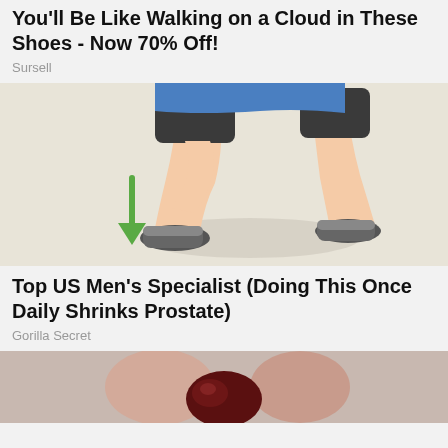You'll Be Like Walking on a Cloud in These Shoes - Now 70% Off!
Sursell
[Figure (illustration): Illustration of a person in a squatting position wearing dark sneakers, blue shirt and black shorts, with a green arrow pointing downward, on a light beige floor.]
Top US Men's Specialist (Doing This Once Daily Shrinks Prostate)
Gorilla Secret
[Figure (photo): Close-up photo of fingers holding a dark red cherry or berry fruit, partially blurred background.]